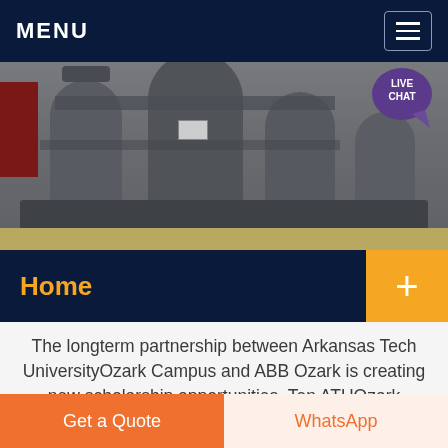MENU
[Figure (photo): Industrial machinery — large cylindrical metal equipment on a factory floor, viewed from the side. A 'LIVE CHAT' speech bubble overlay appears in the top-right corner.]
Home
The longterm partnership between Arkansas Tech UniversityOzark Campus and ABB Ozark is creating new scholarship opportunities. Ten ATUOzark students studying computer science, logistics management and industrial maintenance will each receive a 1,000